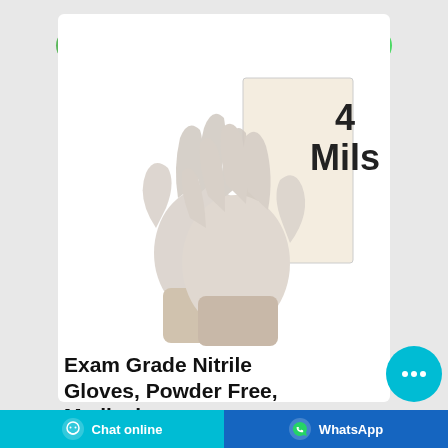[Figure (other): Two green buttons: 'Contact the manufacturer' and 'WhatsApp']
[Figure (photo): Photo of two hands wearing white nitrile examination gloves crossed at the wrists, with a white box behind them and a '4 Mils' label to the right]
Exam Grade Nitrile Gloves, Powder Free, Medical ...
4 Mils Exam Grade Nitrile Gloves, Powder Free, Medical Grade, Finger Textured, Latex Free Protective Glove, Food Safe FDA Approved – Box of 100 - Size M. USD $15.25 (5.0) 5 stars out of 1 review: 1 review: USD $15.25  $15.25  Add to cart
[Figure (other): Cyan chat bubble button with three dots, and bottom bar with 'Chat online' and 'WhatsApp' buttons]